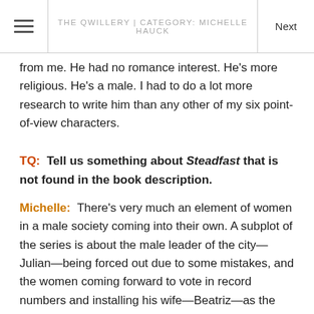THE QWILLERY | CATEGORY: MICHELLE HAUCK
from me. He had no romance interest. He's more religious. He's a male. I had to do a lot more research to write him than any other of my six point-of-view characters.
TQ: Tell us something about Steadfast that is not found in the book description.
Michelle: There's very much an element of women in a male society coming into their own. A subplot of the series is about the male leader of the city—Julian—being forced out due to some mistakes, and the women coming forward to vote in record numbers and installing his wife—Beatriz—as the new elected official—and not just for one city-state, but for two. And then there's the whole character arc of the husband and wife learning to deal with the power shift in their relationship. I'm afraid there's a